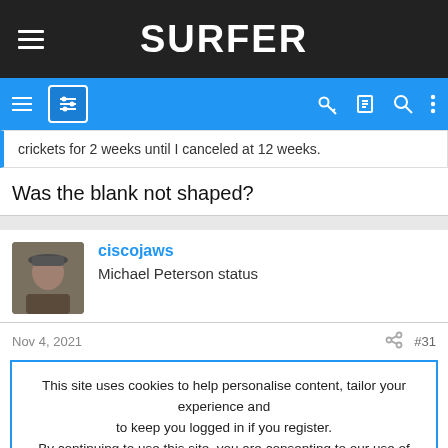SURFER
crickets for 2 weeks until I canceled at 12 weeks.
Was the blank not shaped?
ciscojaws
Michael Peterson status
Nov 4, 2021  #31
This site uses cookies to help personalise content, tailor your experience and to keep you logged in if you register.
By continuing to use this site, you are consenting to our use of cookies.
ACCEPT   LEARN MORE...